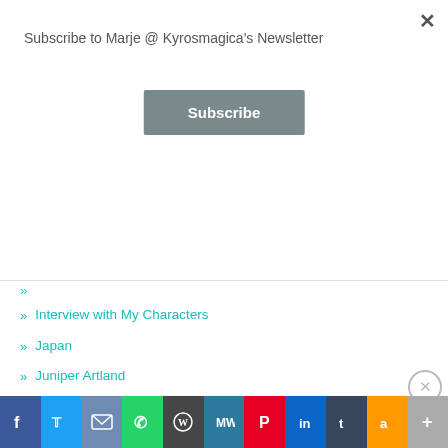Subscribe to Marje @ Kyrosmagica's Newsletter
Subscribe
Interview with My Characters
Japan
Juniper Artland
Latte Art
Launch Tour – Paperback – The Curse of Time Book 1 Bloodstone
Libraries
Limericks
Advertisements
Search, browse, and email